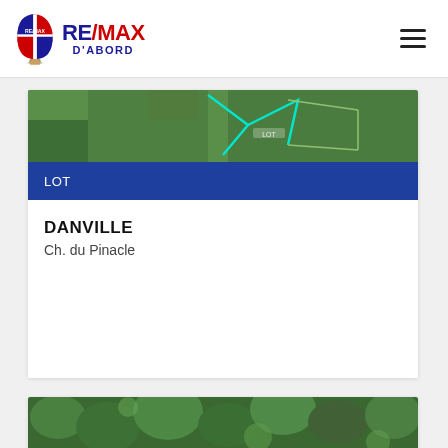RE/MAX D'ABORD
[Figure (photo): Aerial view of green land lots with cyan boundary lines marked on grass]
LOT
DANVILLE
Ch. du Pinacle
[Figure (photo): Partial aerial view of green tree canopy]